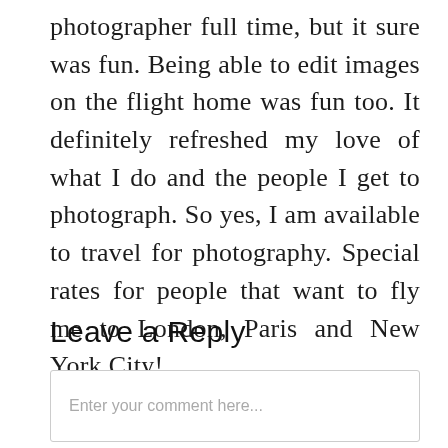photographer full time, but it sure was fun. Being able to edit images on the flight home was fun too. It definitely refreshed my love of what I do and the people I get to photograph. So yes, I am available to travel for photography. Special rates for people that want to fly me to London, Paris and New York City!
Leave a Reply
Enter your comment here...